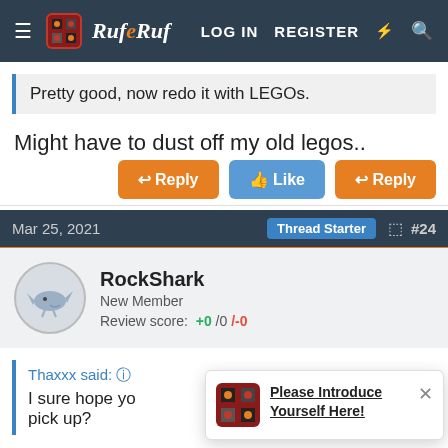RufRuf forum navigation bar with LOG IN, REGISTER, and search icons
Pretty good, now redo it with LEGOs.
Might have to dust off my old legos..
Reply | Like | Reply
Mar 25, 2021   Thread Starter   #24
RockShark
New Member
Review score: +0 /0 /-0
Thaxxx said:
I sure hope yo... pick up?
Please Introduce Yourself Here!